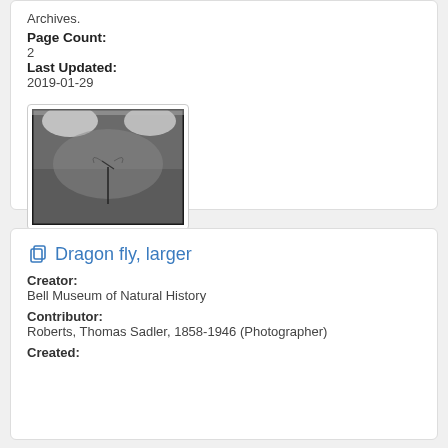University of Minnesota Libraries, University Archives.
Page Count: 2
Last Updated: 2019-01-29
[Figure (photo): Black and white photograph of a dragonfly perched on a thin vertical stem against a blurred background.]
Dragon fly, larger
Creator: Bell Museum of Natural History
Contributor: Roberts, Thomas Sadler, 1858-1946 (Photographer)
Created: